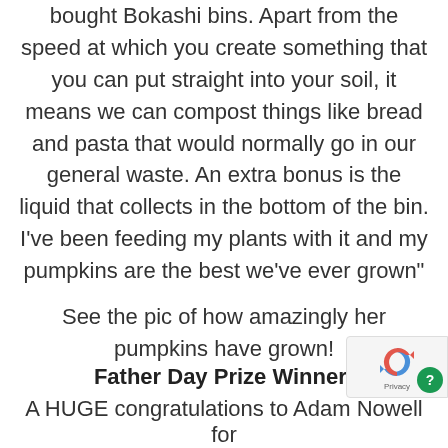bought Bokashi bins. Apart from the speed at which you create something that you can put straight into your soil, it means we can compost things like bread and pasta that would normally go in our general waste. An extra bonus is the liquid that collects in the bottom of the bin. I've been feeding my plants with it and my pumpkins are the best we've ever grown"
See the pic of how amazingly her pumpkins have grown!
Father Day Prize Winner:
A HUGE congratulations to Adam Nowell for